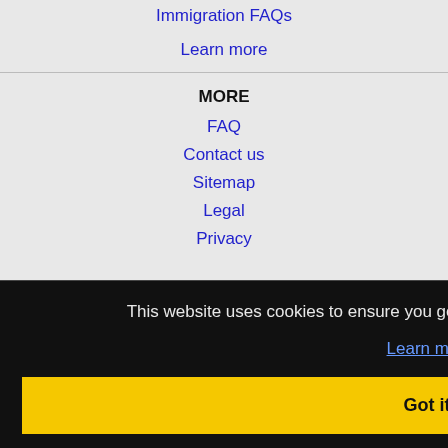Immigration FAQs
Learn more
MORE
FAQ
Contact us
Sitemap
Legal
Privacy
This website uses cookies to ensure you get the best experience on our website.
Learn more
Got it!
Greensboro, NC Jobs
High Point, NC Jobs